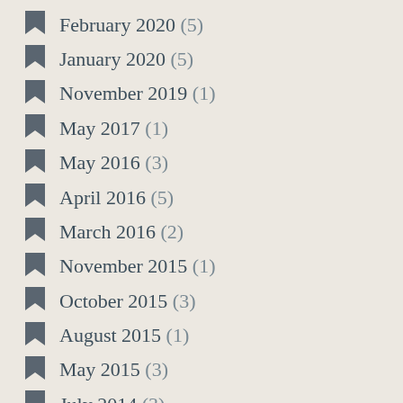February 2020 (5)
January 2020 (5)
November 2019 (1)
May 2017 (1)
May 2016 (3)
April 2016 (5)
March 2016 (2)
November 2015 (1)
October 2015 (3)
August 2015 (1)
May 2015 (3)
July 2014 (3)
April 2014 (1)
March 2014 (2)